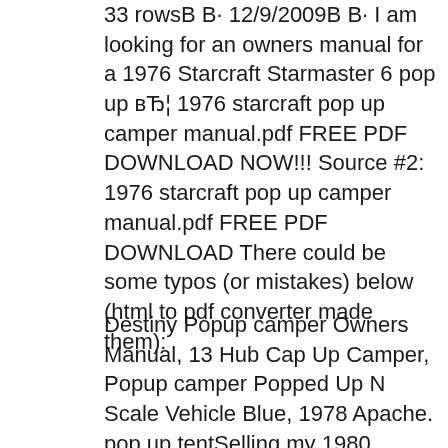33 rowsВ В· 12/9/2009В В· I am looking for an owners manual for a 1976 Starcraft Starmaster 6 pop up вЂ¦ 1976 starcraft pop up camper manual.pdf FREE PDF DOWNLOAD NOW!!! Source #2: 1976 starcraft pop up camper manual.pdf FREE PDF DOWNLOAD There could be some typos (or mistakes) below (html to pdf converter made them):
Destiny Popup camper Owners Manual, 13 Hub Cap Up Camper, Popup camper Popped Up N Scale Vehicle Blue, 1978 Apache. pop up tentSelling my 1980 starcraft pop up tent trailer,model star master Has a dinette pullout (manual), toilet/shower, place for the stove to